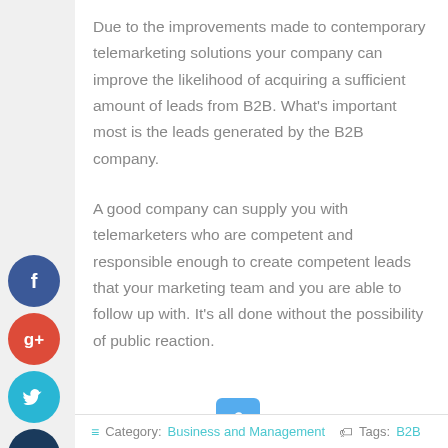Due to the improvements made to contemporary telemarketing solutions your company can improve the likelihood of acquiring a sufficient amount of leads from B2B. What's important most is the leads generated by the B2B company.
A good company can supply you with telemarketers who are competent and responsible enough to create competent leads that your marketing team and you are able to follow up with. It's all done without the possibility of public reaction.
Share this post: on Twitter on Facebook on Google+
Category: Business and Management   Tags: B2B